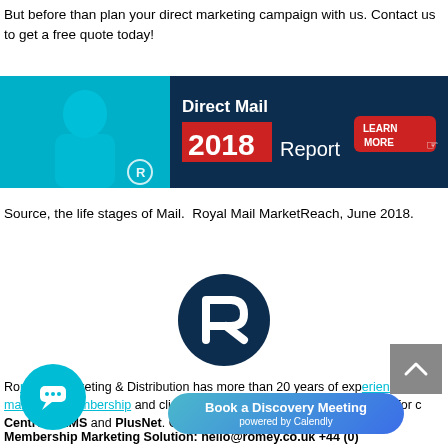But before than plan your direct marketing campaign with us. Contact us to get a free quote today!
[Figure (infographic): Banner for Direct Mail 2018 Report with a Learn More button and a photo of a person on a teal background]
Source, the life stages of Mail.  Royal Mail MarketReach, June 2018.
[Figure (logo): Romeico Marketing & Distribution circular logo with stylized R in dark navy blue]
Romeico Marketing & Distribution has more than 20 years of experience managing membership and client printing and communication services for clients including British Red Cross, Cancer Research UK, Guide Dogs, Diabetes UK, Help for Heroes, National Trust, Oxfam, RNIB, RNLI and many more. Contact our Membership Marketing Solutions: hello@romey.co.uk +44 (0)